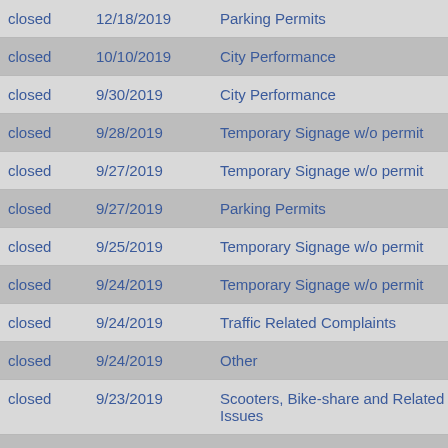| Status | Date | Type |
| --- | --- | --- |
| closed | 12/18/2019 | Parking Permits |
| closed | 10/10/2019 | City Performance |
| closed | 9/30/2019 | City Performance |
| closed | 9/28/2019 | Temporary Signage w/o permit |
| closed | 9/27/2019 | Temporary Signage w/o permit |
| closed | 9/27/2019 | Parking Permits |
| closed | 9/25/2019 | Temporary Signage w/o permit |
| closed | 9/24/2019 | Temporary Signage w/o permit |
| closed | 9/24/2019 | Traffic Related Complaints |
| closed | 9/24/2019 | Other |
| closed | 9/23/2019 | Scooters, Bike-share and Related Issues |
| closed | 9/23/2019 | Temporary Signage w/o permit |